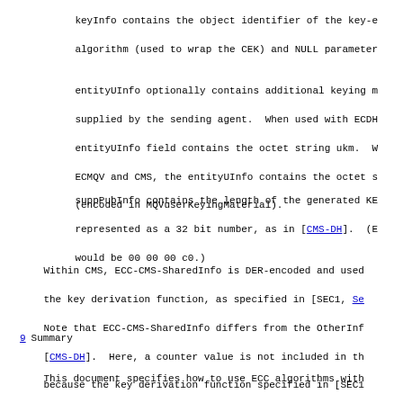keyInfo contains the object identifier of the key-e algorithm (used to wrap the CEK) and NULL parameter
entityUInfo optionally contains additional keying m supplied by the sending agent.  When used with ECDH entityUInfo field contains the octet string ukm.  W ECMQV and CMS, the entityUInfo contains the octet s (encoded in MQVuserKeyingMaterial).
suppPubInfo contains the length of the generated KE represented as a 32 bit number, as in [CMS-DH].  (E would be 00 00 00 c0.)
Within CMS, ECC-CMS-SharedInfo is DER-encoded and used the key derivation function, as specified in [SEC1, Se Note that ECC-CMS-SharedInfo differs from the OtherInf [CMS-DH].  Here, a counter value is not included in th because the key derivation function specified in [SEC1 3.6.1] ensures that sufficient keying data is provided
9   Summary
This document specifies how to use ECC algorithms with CMS.  Use of ECC algorithm within CMS can result in re processing requirements for S/MIME agents, and reduced CMS messages.